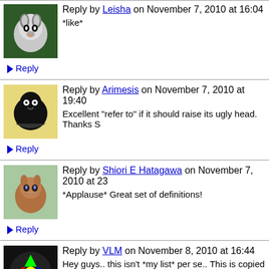Reply by Leisha on November 7, 2010 at 16:04
*like*
Reply
Reply by Arimesis on November 7, 2010 at 19:40
Excellent "refer to" if it should raise its ugly head. Thanks S
Reply
Reply by Shiori E Hatagawa on November 7, 2010 at 23
*Applause* Great set of definitions!
Reply
Reply by VLM on November 8, 2010 at 16:44
Hey guys.. this isn't *my list* per se.. This is copied from Sa